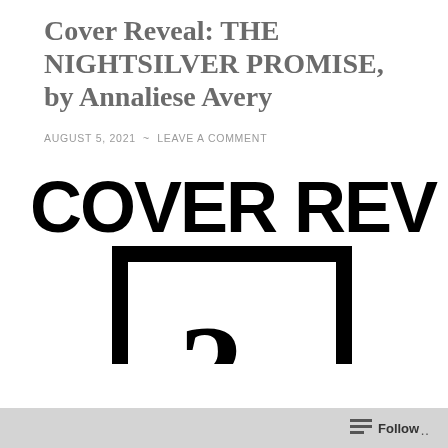Cover Reveal: THE NIGHTSILVER PROMISE, by Annaliese Avery
AUGUST 5, 2021  ~  LEAVE A COMMENT
[Figure (illustration): Large bold text reading 'COVER REVEAL' above a black-bordered rectangle containing a large question mark, representing a book cover reveal graphic]
Follow